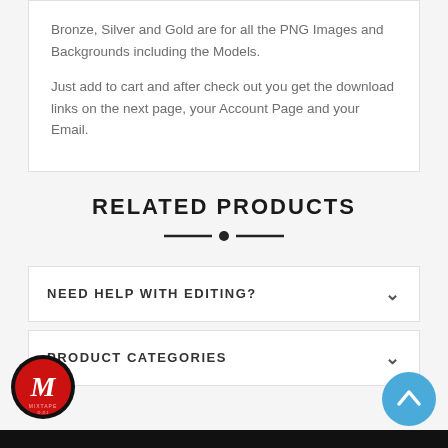Bronze, Silver and Gold are for all the PNG Images and Backgrounds including the Models.
Just add to cart and after check out you get the download links on the next page, your Account Page and your Email.
RELATED PRODUCTS
NEED HELP WITH EDITING?
PRODUCT CATEGORIES
[Figure (logo): Circular red logo with white M letter and MIXTAPE text]